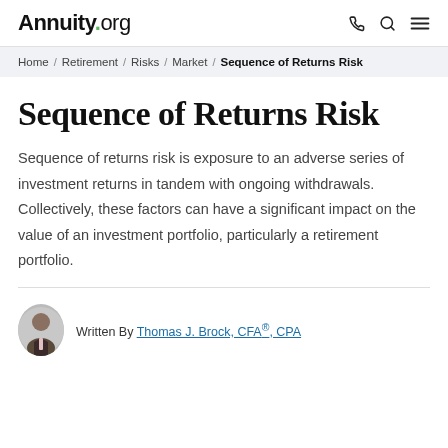Annuity.org
Home / Retirement / Risks / Market / Sequence of Returns Risk
Sequence of Returns Risk
Sequence of returns risk is exposure to an adverse series of investment returns in tandem with ongoing withdrawals. Collectively, these factors can have a significant impact on the value of an investment portfolio, particularly a retirement portfolio.
Written By Thomas J. Brock, CFA®, CPA